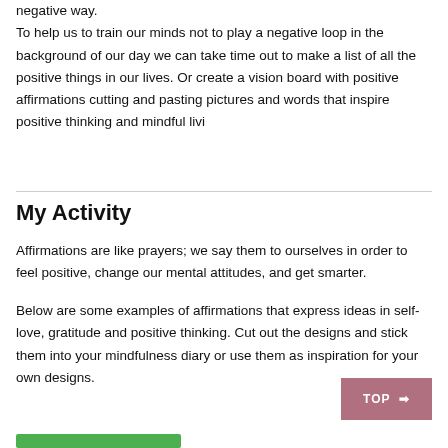negative way. To help us to train our minds not to play a negative loop in the background of our day we can take time out to make a list of all the positive things in our lives. Or create a vision board with positive affirmations cutting and pasting pictures and words that inspire positive thinking and mindful livi
My Activity
Affirmations are like prayers; we say them to ourselves in order to feel positive, change our mental attitudes, and get smarter.
Below are some examples of affirmations that express ideas in self-love, gratitude and positive thinking. Cut out the designs and stick them into your mindfulness diary or use them as inspiration for your own designs.